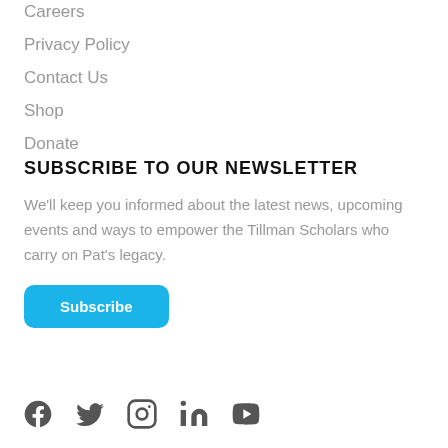Careers
Privacy Policy
Contact Us
Shop
Donate
SUBSCRIBE TO OUR NEWSLETTER
We'll keep you informed about the latest news, upcoming events and ways to empower the Tillman Scholars who carry on Pat's legacy.
Subscribe
[Figure (other): Social media icons: Facebook, Twitter, Instagram, LinkedIn, YouTube]